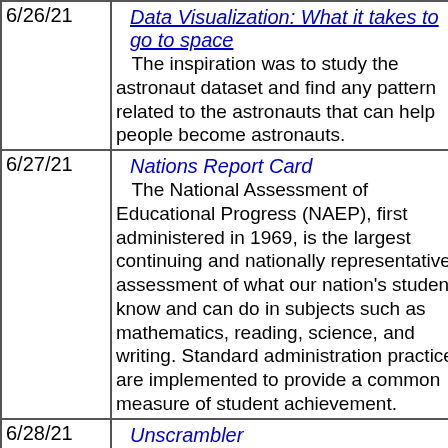| Date | Content |
| --- | --- |
| 6/26/21 | Data Visualization: What it takes to go to space
The inspiration was to study the astronaut dataset and find any pattern related to the astronauts that can help people become astronauts. |
| 6/27/21 | Nations Report Card
The National Assessment of Educational Progress (NAEP), first administered in 1969, is the largest continuing and nationally representative assessment of what our nation's students know and can do in subjects such as mathematics, reading, science, and writing. Standard administration practices are implemented to provide a common measure of student achievement. |
| 6/28/21 | Unscrambler
This word unscrambler can help find words from a collection of individual letters. It can be handy if you are stuck solving a puzzle. Easily create lists of valid Scrabble words and anagrams that are made from your selected letter combinations. |
| 6/29/21 | Rhyme Desk
Are you writing a poem or a song? "Rhyme Desk" offers a selection of tools to help by searching for rhyming words, related words, and |